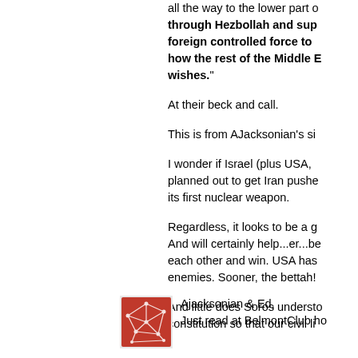all the way to the lower part of... through Hezbollah and sup... foreign controlled force to ... how the rest of the Middle E... wishes."
At their beck and call.
This is from AJacksonian's si...
I wonder if Israel (plus USA, ... planned out to get Iran pushe... its first nuclear weapon.
Regardless, it looks to be a g... And will certainly help...er...be... each other and win. USA has... enemies. Sooner, the bettah!
And little does Soros understo... constitution so that our civil li...
Ajacksonian & Ed,
Just read at BelmontClub how...
[Figure (logo): Red and white abstract geometric/network logo icon]